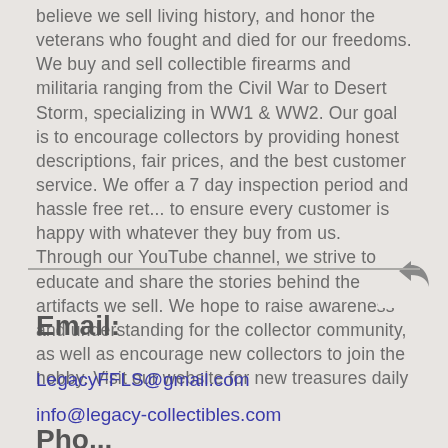believe we sell living history, and honor the veterans who fought and died for our freedoms. We buy and sell collectible firearms and militaria ranging from the Civil War to Desert Storm, specializing in WW1 & WW2. Our goal is to encourage collectors by providing honest descriptions, fair prices, and the best customer service. We offer a 7 day inspection period and hassle free returns to ensure every customer is happy with whatever they buy from us. Through our YouTube channel, we strive to educate and share the stories behind the artifacts we sell. We hope to raise awareness and understanding for the collector community, as well as encourage new collectors to join the hobby. Visit our website for new treasures daily
Email:
LegacyFFLS@gmail.com
info@legacy-collectibles.com
Pho...